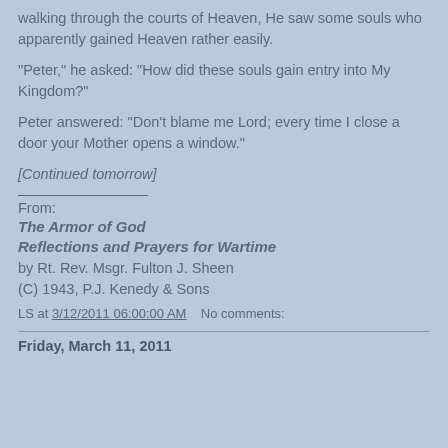walking through the courts of Heaven, He saw some souls who apparently gained Heaven rather easily.
"Peter," he asked: "How did these souls gain entry into My Kingdom?"
Peter answered: "Don't blame me Lord; every time I close a door your Mother opens a window."
[Continued tomorrow]
From:
The Armor of God
Reflections and Prayers for Wartime
by Rt. Rev. Msgr. Fulton J. Sheen
(C) 1943, P.J. Kenedy & Sons
LS at 3/12/2011 06:00:00 AM   No comments:
Friday, March 11, 2011